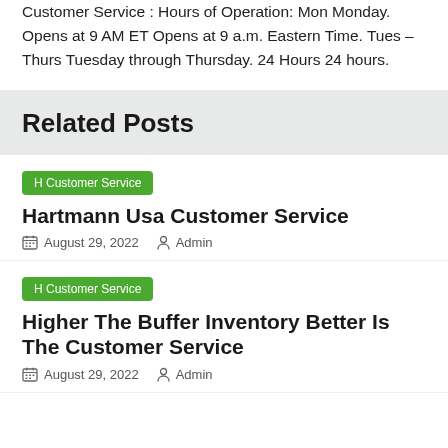Customer Service : Hours of Operation: Mon Monday. Opens at 9 AM ET Opens at 9 a.m. Eastern Time. Tues – Thurs Tuesday through Thursday. 24 Hours 24 hours.
Related Posts
H Customer Service
Hartmann Usa Customer Service
August 29, 2022   Admin
H Customer Service
Higher The Buffer Inventory Better Is The Customer Service
August 29, 2022   Admin